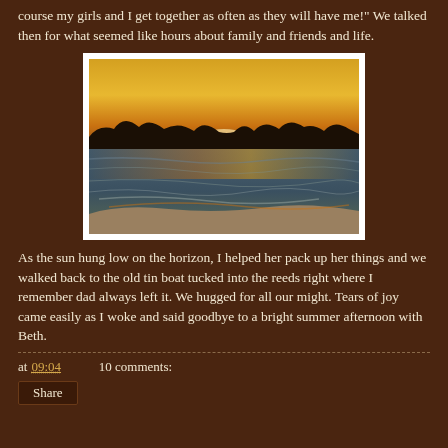course my girls and I get together as often as they will have me!" We talked then for what seemed like hours about family and friends and life.
[Figure (photo): A sunset beach scene with calm water reflecting orange and golden light from the setting sun on the horizon, with a dark silhouette of treeline in the background.]
As the sun hung low on the horizon, I helped her pack up her things and we walked back to the old tin boat tucked into the reeds right where I remember dad always left it. We hugged for all our might. Tears of joy came easily as I woke and said goodbye to a bright summer afternoon with Beth.
at 09:04   10 comments:
Share